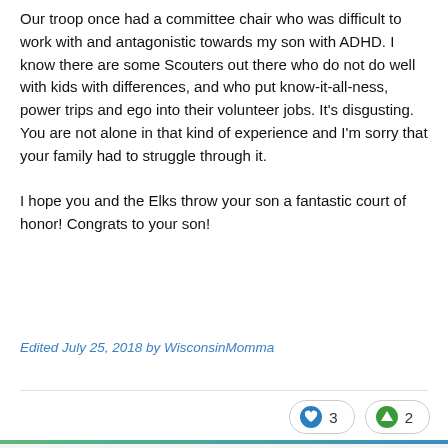Our troop once had a committee chair who was difficult to work with and antagonistic towards my son with ADHD.  I know there are some Scouters out there who do not do well with kids with differences, and who put know-it-all-ness, power trips and ego into their volunteer jobs. It's disgusting.  You are not alone in that kind of experience and I'm sorry that your family had to struggle through it.

I hope you and the Elks throw your son a fantastic court of honor!  Congrats to your son!
Edited July 25, 2018 by WisconsinMomma
♥ 3   ↑ 2
Mich08212  ○5
Posted July 26, 2018
On 7/24/2018 at 2:53 PM, NJCubScouter said: